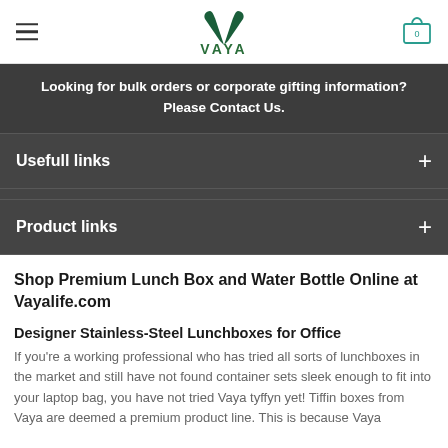VAYA logo and navigation header
Looking for bulk orders or corporate gifting information? Please Contact Us.
Usefull links
Product links
Shop Premium Lunch Box and Water Bottle Online at Vayalife.com
Designer Stainless-Steel Lunchboxes for Office
If you're a working professional who has tried all sorts of lunchboxes in the market and still have not found container sets sleek enough to fit into your laptop bag, you have not tried Vaya tyffyn yet! Tiffin boxes from Vaya are deemed a premium product line. This is because Vaya